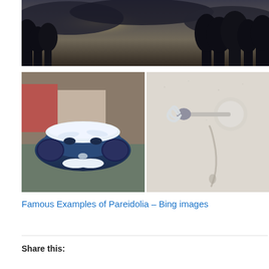[Figure (photo): Overcast sky with tree silhouettes and a faint sun visible through dark clouds]
[Figure (photo): A blue Volkswagen Beetle covered in snow, the snow arrangement forming a face-like appearance (pareidolia example)]
[Figure (photo): A CFL light bulb horizontally mounted on a white textured wall, with a shadow beneath it that resembles a dripping shape (pareidolia example)]
Famous Examples of Pareidolia – Bing images
Share this: